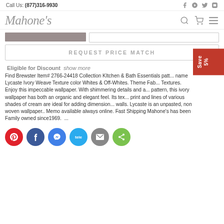Call Us: (877)316-9930
[Figure (logo): Mahone's cursive logo]
REQUEST PRICE MATCH
Eligible for Discount   show more
Find Brewster Item# 2766-24418 Collection KItchen & Bath Essentials pattern name Lycaste Ivory Weave Texture color Whites & Off-Whites. Theme Fabrics & Textures. Enjoy this impeccable wallpaper. With shimmering details and a subtle pattern, this ivory wallpaper has both an organic and elegant feel. Its texture print and lines of various shades of cream are ideal for adding dimension to walls. Lycaste is an unpasted, non woven wallpaper.. Memo available always online. Fast Shipping Mahone's has been Family owned since1969.  ...
[Figure (infographic): Social share buttons: Pinterest, Facebook, Messenger, Telegram, Email, Share]